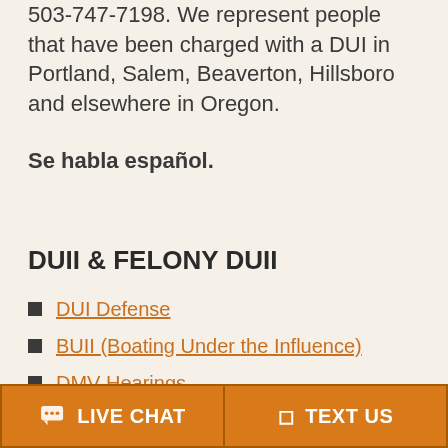503-747-7198. We represent people that have been charged with a DUI in Portland, Salem, Beaverton, Hillsboro and elsewhere in Oregon.
Se habla español.
DUII & FELONY DUII
DUI Defense
BUII (Boating Under the Influence)
DMV Hearings
Driver's License Restoration
LIVE CHAT   TEXT US